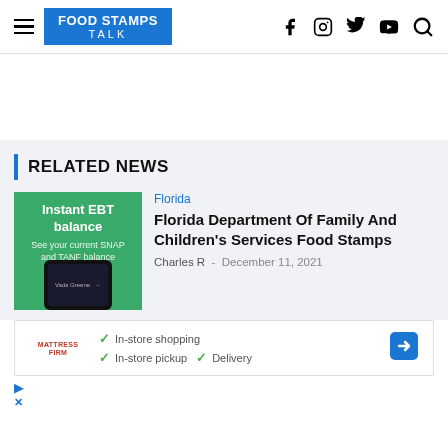FOOD STAMPS TALK
RELATED NEWS
[Figure (screenshot): Thumbnail image of a phone showing EBT balance app on green background with text: Instant EBT balance, See your current SNAP and TANF balance]
Florida
Florida Department Of Family And Children's Services Food Stamps
Charles R  -  December 11, 2021
[Figure (screenshot): Advertisement banner for Mattress Firm showing checkmarks for In-store shopping, In-store pickup, and Delivery with a blue arrow icon]